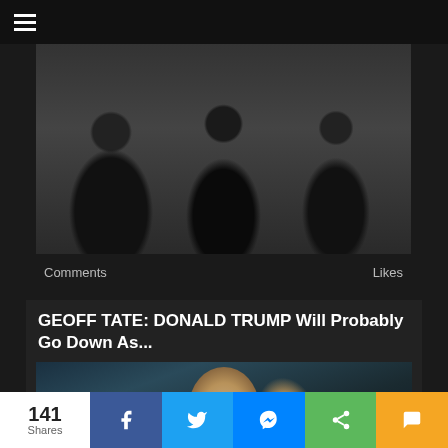Navigation menu
[Figure (photo): Black and white photo of a rock band, showing torsos with leather jackets and chains/cross pendants]
Comments    Likes
GEOFF TATE: DONALD TRUMP Will Probably Go Down As...
[Figure (photo): Photo of bald performer wearing sunglasses, singing into microphone with hand raised]
141 Shares | Facebook | Twitter | Messenger | Share | SMS